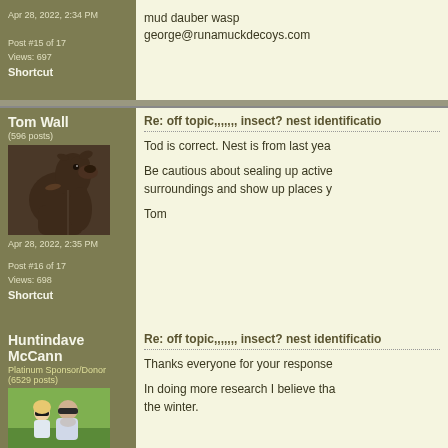Apr 28, 2022, 2:34 PM
Post #15 of 17
Views: 697
Shortcut
mud dauber wasp
george@runamuckdecoys.com
Tom Wall
(596 posts)
[Figure (photo): Profile photo of a chocolate Labrador dog looking upward]
Apr 28, 2022, 2:35 PM
Post #16 of 17
Views: 698
Shortcut
Re: off topic,,,,,,, insect? nest identificatio...
Tod is correct. Nest is from last yea...
Be cautious about sealing up active... surroundings and show up places y...
Tom
Huntindave McCann
Platinum Sponsor/Donor (6529 posts)
[Figure (photo): Profile photo of a child and adult wearing sunglasses outdoors in a green field]
Re: off topic,,,,,,, insect? nest identificatio...
Thanks everyone for your response...
In doing more research I believe tha... the winter.